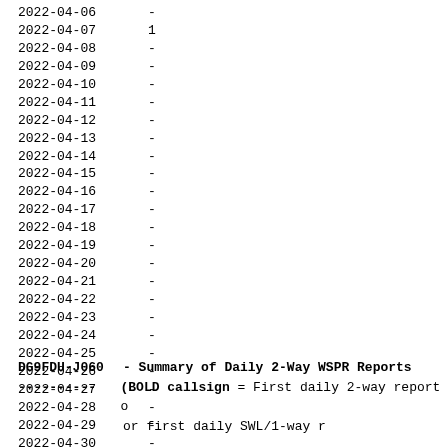| Date | Count |
| --- | --- |
| 2022-04-06 | - |
| 2022-04-07 | 1 |
| 2022-04-08 | - |
| 2022-04-09 | - |
| 2022-04-10 | - |
| 2022-04-11 | - |
| 2022-04-12 | - |
| 2022-04-13 | - |
| 2022-04-14 | - |
| 2022-04-15 | - |
| 2022-04-16 | - |
| 2022-04-17 | - |
| 2022-04-18 | - |
| 2022-04-19 | - |
| 2022-04-20 | - |
| 2022-04-21 | - |
| 2022-04-22 | - |
| 2022-04-23 | - |
| 2022-04-24 | - |
| 2022-04-25 | - |
| 2022-04-26 | - |
| 2022-04-27 | - |
| 2022-04-28 | - |
| 2022-04-29 | - |
| 2022-04-30 | - |
DG9FDU-J060 - Summary of Daily 2-Way WSPR Reports
---------- (BOLD callsign = First daily 2-way report o
or first daily SWL/1-way r